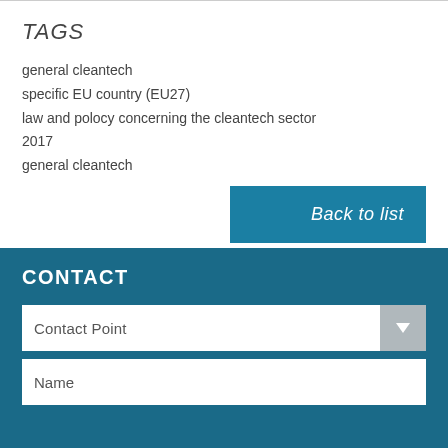TAGS
general cleantech
specific EU country (EU27)
law and polocy concerning the cleantech sector
2017
general cleantech
Back to list
CONTACT
Contact Point
Name